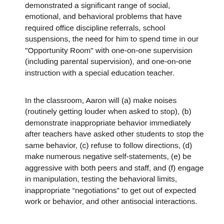demonstrated a significant range of social, emotional, and behavioral problems that have required office discipline referrals, school suspensions, the need for him to spend time in our "Opportunity Room" with one-on-one supervision (including parental supervision), and one-on-one instruction with a special education teacher.
In the classroom, Aaron will (a) make noises (routinely getting louder when asked to stop), (b) demonstrate inappropriate behavior immediately after teachers have asked other students to stop the same behavior, (c) refuse to follow directions, (d) make numerous negative self-statements, (e) be aggressive with both peers and staff, and (f) engage in manipulation, testing the behavioral limits, inappropriate “negotiations” to get out of expected work or behavior, and other antisocial interactions.